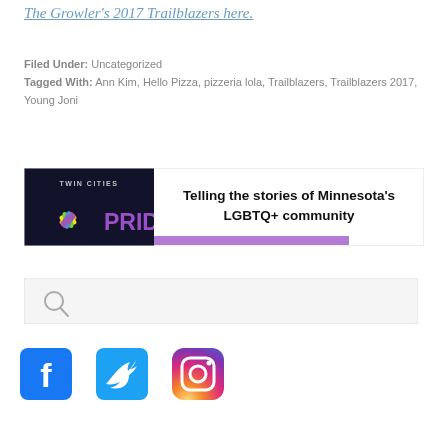The Growler's 2017 Trailblazers here.
Filed Under: Uncategorized
Tagged With: Ann Kim, Hello Pizza, pizzeria lola, Trailblazers, Trailblazers 2017, Young Joni
[Figure (infographic): Twin Cities Pride advertisement banner: dark background on left with colorful pride logo and 'TWIN CITIES PRIDE' text in purple, right side white background with bold text 'Telling the stories of Minnesota's LGBTQ+ community']
[Figure (other): Search input box with magnifying glass icon]
[Figure (other): Social media icons: Facebook (blue square with white f), Twitter (blue square with white bird), Instagram (gradient circle with camera icon)]